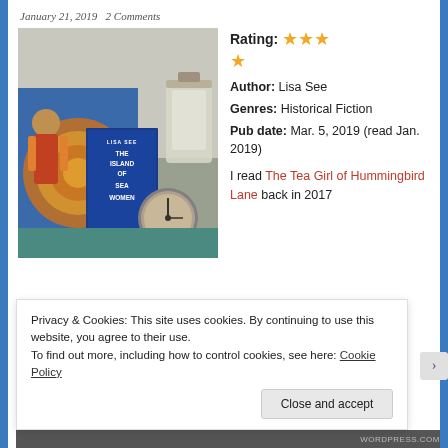January 21, 2019   2 Comments
[Figure (photo): Photo of book 'The Island of Sea Women' by Lisa See displayed among decorative items including a colorful fabric doll and a glass lantern, with a clock visible in the background]
Rating: ★★★★
Author: Lisa See
Genres: Historical Fiction
Pub date: Mar. 5, 2019 (read Jan. 2019)
I read The Tea Girl of Hummingbird Lane back in 2017
Privacy & Cookies: This site uses cookies. By continuing to use this website, you agree to their use.
To find out more, including how to control cookies, see here: Cookie Policy
Close and accept